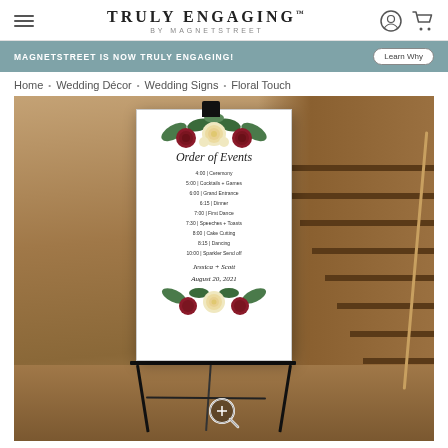TRULY ENGAGING BY MAGNETSTREET
MAGNETSTREET IS NOW TRULY ENGAGING!  Learn Why
Home • Wedding Décor • Wedding Signs • Floral Touch
[Figure (photo): A wedding order of events sign displayed on a black easel in a venue hallway with stairs. The white sign reads 'Order of Events' in script, lists timed events for a wedding reception, and is decorated with burgundy and cream floral arrangements. Names 'Jessica + Scott, August 20, 2021' appear at the bottom.]